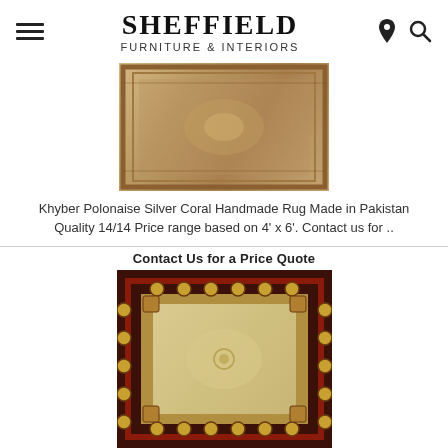SHEFFIELD FURNITURE & INTERIORS
[Figure (photo): Khyber Polonaise Silver Coral handmade rug, rectangular, beige/tan tones with ornate border pattern]
Khyber Polonaise Silver Coral Handmade Rug Made in Pakistan Quality 14/14 Price range based on 4' x 6'. Contact us for ..
Contact Us for a Price Quote
[Figure (photo): Dark-bordered ornate handmade rug with dark brown/burgundy border featuring circular medallion patterns and cream/gold center field with floral motifs]